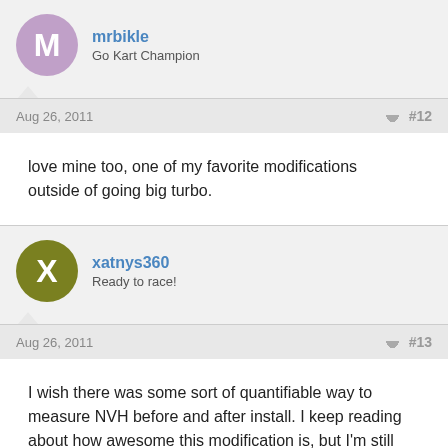mrbikle
Go Kart Champion
Aug 26, 2011  #12
love mine too, one of my favorite modifications outside of going big turbo.
xatnys360
Ready to race!
Aug 26, 2011  #13
I wish there was some sort of quantifiable way to measure NVH before and after install. I keep reading about how awesome this modification is, but I'm still apprehensive. It seems the only way to get an idea of what you are in for is to ride in